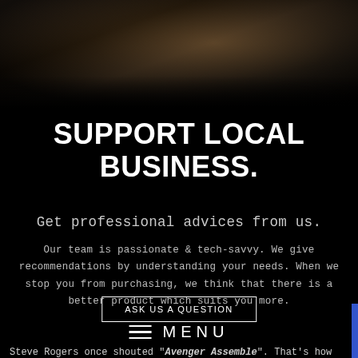[Figure (photo): Dark moody photo of an indoor space, warm light rays visible from upper center area on a dark wooden or concrete background]
SUPPORT LOCAL BUSINESS.
Get professional advices from us.
Our team is passionate & tech-savvy. We give recommendations by understanding your needs. When we stop you from purchasing, we think that there is a better product which suits you more.
ASK US A QUESTION
MENU
Steve Rogers once shouted "Avenger Assemble". That's how our